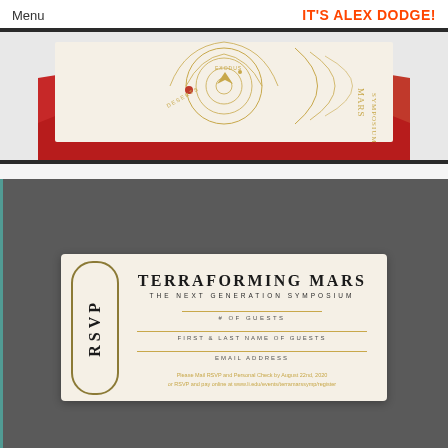Menu | IT'S ALEX DODGE!
[Figure (illustration): Envelope with astronomical/solar system design card peeking out, red envelope flap visible, gold line art on cream background with text MARS SYMPOSIUM partially visible]
[Figure (illustration): RSVP card on dark gray textured background. Card reads: TERRAFORMING MARS / THE NEXT GENERATION SYMPOSIUM. Fields for # OF GUESTS, FIRST & LAST NAME OF GUESTS, EMAIL ADDRESS. Footer: Please Mail RSVP and Personal Check by August 22nd, 2020 or RSVP and pay online at www.li.edu/events/terramarssymp/register. RSVP label on left side in rounded rectangle border.]